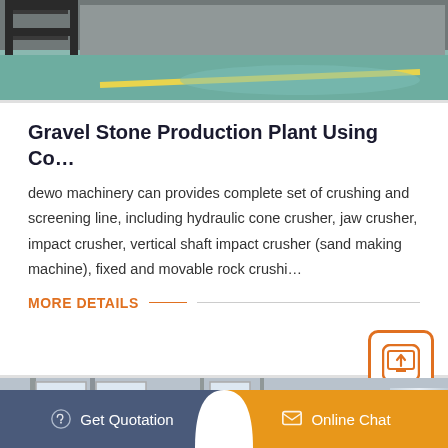[Figure (photo): Industrial facility interior showing metal storage rack on green/teal floor with yellow safety line]
Gravel Stone Production Plant Using Co…
dewo machinery can provides complete set of crushing and screening line, including hydraulic cone crusher, jaw crusher, impact crusher, vertical shaft impact crusher (sand making machine), fixed and movable rock crushi…
MORE DETAILS
[Figure (photo): Industrial manufacturing plant interior with steel structure, windows, Chinese banner reading 以质量来生存 (Existing on Quality), and a white silo/tank]
Get Quotation
Online Chat